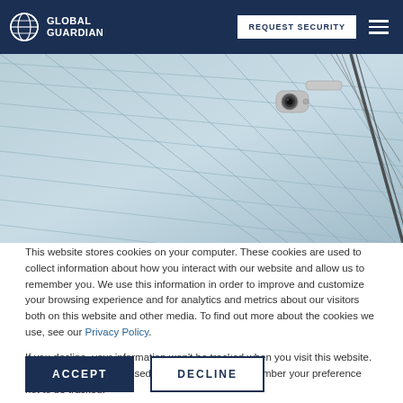Global Guardian | REQUEST SECURITY
[Figure (photo): Security camera mounted on glass building facade, looking down diagonal rows of glass panels with blue tint]
This website stores cookies on your computer. These cookies are used to collect information about how you interact with our website and allow us to remember you. We use this information in order to improve and customize your browsing experience and for analytics and metrics about our visitors both on this website and other media. To find out more about the cookies we use, see our Privacy Policy.
If you decline, your information won't be tracked when you visit this website. A single cookie will be used in your browser to remember your preference not to be tracked.
ACCEPT | DECLINE